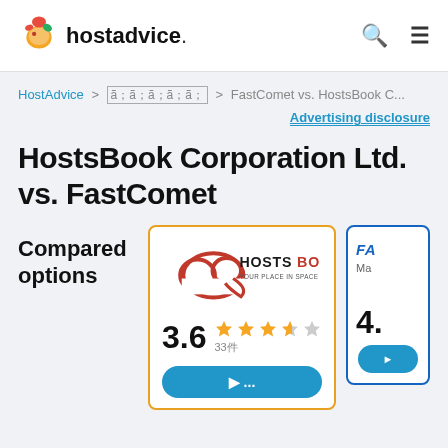hostadvice. [search] [menu]
HostAdvice > ⬜⬜⬜⬜⬜⬜⬜⬜⬜⬜ > FastComet vs. HostsBook C...
Advertising disclosure
HostsBook Corporation Ltd. vs. FastComet
Compared options
[Figure (logo): HostsBook logo with cloud shape and text 'HOSTS BOOK YOUR PLACE IN SPACE']
3.6 ★★★★☆ 33件
[Figure (logo): FastComet logo partially visible, rating 4.]